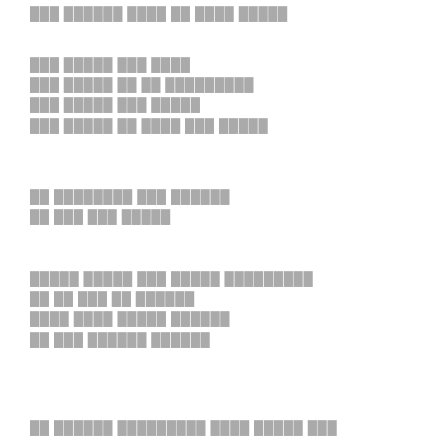███ ██████ ████ ██ ████ █████
███ █████ ███ ████
███ █████ ██ ██ █████████
███ █████ ███ █████
███ █████ ██ ████ ███ █████
██ ████████ ███ ██████
██ ███ ███ █████
█████ █████ ███ █████ █████████
██ ██ ███ ██ ██████
████ ████ █████ ██████
██ ███ ██████ ██████
██ ██████ █████████ ████ █████ ███